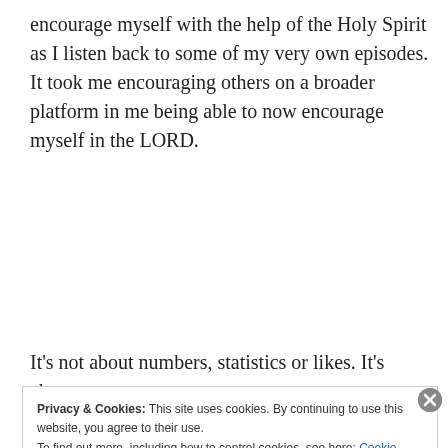encourage myself with the help of the Holy Spirit as I listen back to some of my very own episodes. It took me encouraging others on a broader platform in me being able to now encourage myself in the LORD.
[Figure (other): Advertisement banner for 'Day One' journaling app with blue background, app icons, and text 'The only journaling app you'll ever need']
It's not about numbers, statistics or likes. It's about
Privacy & Cookies: This site uses cookies. By continuing to use this website, you agree to their use.
To find out more, including how to control cookies, see here: Cookie Policy